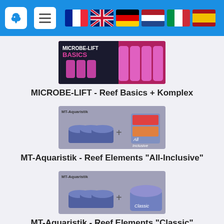Navigation bar with logo, menu button, and language flags (FR, EN, DE, NL, IT, ES)
[Figure (photo): MICROBE-LIFT Basics product image showing pink bottles and containers]
MICROBE-LIFT - Reef Basics + Komplex
[Figure (photo): MT-Aquaristik Reef Elements All-Inclusive product image showing containers with All Inclusive label]
MT-Aquaristik - Reef Elements "All-Inclusive"
[Figure (photo): MT-Aquaristik Reef Elements Classic product image showing containers with Classic label]
MT-Aquaristik - Reef Elements "Classic"
[Figure (photo): Partially visible product image at bottom of page]